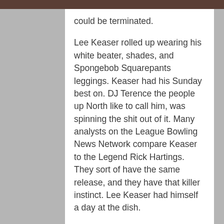could be terminated.
Lee Keaser rolled up wearing his white beater, shades, and Spongebob Squarepants leggings. Keaser had his Sunday best on. DJ Terence the people up North like to call him, was spinning the shit out of it. Many analysts on the League Bowling News Network compare Keaser to the Legend Rick Hartings. They sort of have the same release, and they have that killer instinct. Lee Keaser had himself a day at the dish.
Jason Lefeld filled in for the injured Rick Hartings. Lefeld performed in a big way, we were unable to cover what Jason all did, as the people rose to their feet to watch Jason throw each shot. We tried to catch up with Jason after the match,